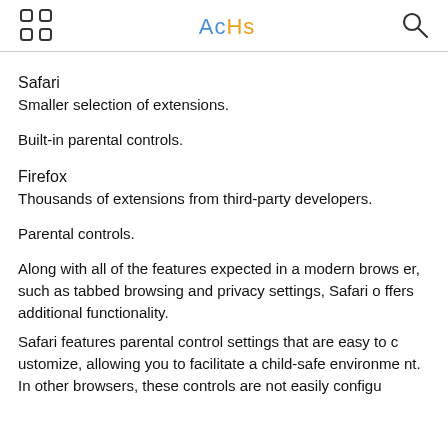AcHs
Safari
Smaller selection of extensions.
Built-in parental controls.
Firefox
Thousands of extensions from third-party developers.
Parental controls.
Along with all of the features expected in a modern browser, such as tabbed browsing and privacy settings, Safari offers additional functionality.
Safari features parental control settings that are easy to customize, allowing you to facilitate a child-safe environment. In other browsers, these controls are not easily configu